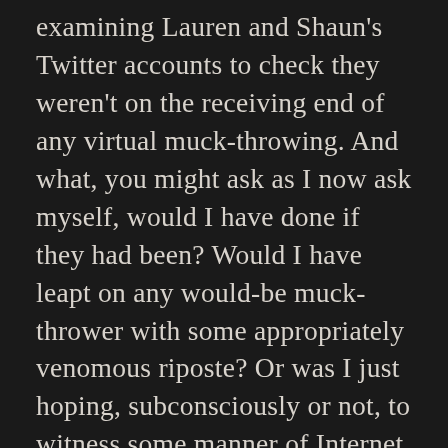examining Lauren and Shaun's Twitter accounts to check they weren't on the receiving end of any virtual muck-throwing. And what, you might ask as I now ask myself, would I have done if they had been? Would I have leapt on any would-be muck-thrower with some appropriately venomous riposte? Or was I just hoping, subconsciously or not, to witness some manner of Internet nastiness? Whatever the explanation, it was a colossal waste of time I could've spent doing something nice, like reading a book, and also a signal that, as Bacharach and David would